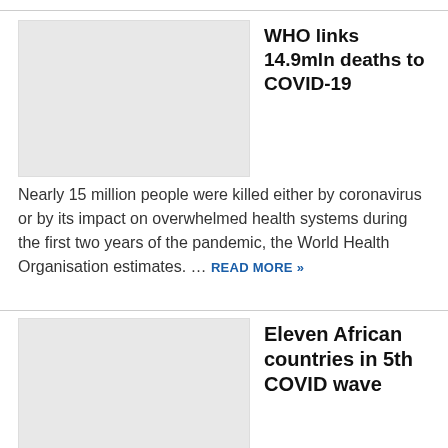WHO links 14.9mln deaths to COVID-19
[Figure (photo): Placeholder image for WHO COVID-19 article]
Nearly 15 million people were killed either by coronavirus or by its impact on overwhelmed health systems during the first two years of the pandemic, the World Health Organisation estimates. … READ MORE »
Eleven African countries in 5th COVID wave
[Figure (photo): Placeholder image for Africa COVID wave article]
COVID-19 infections are on the rise in Africa but are becoming less and less fatal, an Africa CDC official says. Countries experiencing their fifth wave